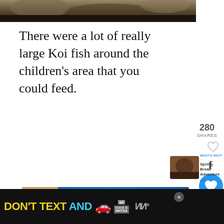[Figure (photo): Top portion of an animal photo (appears to be a bear or similar large mammal, dark fur), cropped at the top of the page]
There were a lot of really large Koi fish around the children’s area that you could feed.
280 SHARES
[Figure (infographic): Heart outline icon (like/favorite button)]
[Figure (infographic): Facebook share icon]
[Figure (infographic): Blue circular heart/like button showing count of 282]
[Figure (infographic): Share button (circular with share icon)]
[Figure (photo): Advertisement banner: Grocery Worker's Appreciation Fund with Kendall-Jackson and United Way logos, showing a smiling grocery worker]
[Figure (photo): What's Next thumbnail: Spring Break Adventure article with animal photo]
WHAT’S NEXT → Spring Break Adventure –...
[Figure (infographic): Bottom advertisement: DON'T TEXT AND [car emoji] NHTSA ad on black background with ad marker and weather channel logo]